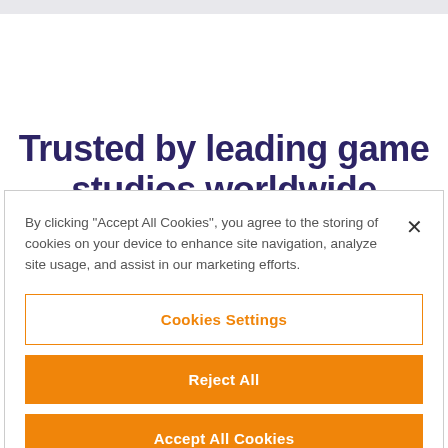Trusted by leading game studios worldwide
By clicking “Accept All Cookies”, you agree to the storing of cookies on your device to enhance site navigation, analyze site usage, and assist in our marketing efforts.
Cookies Settings
Reject All
Accept All Cookies